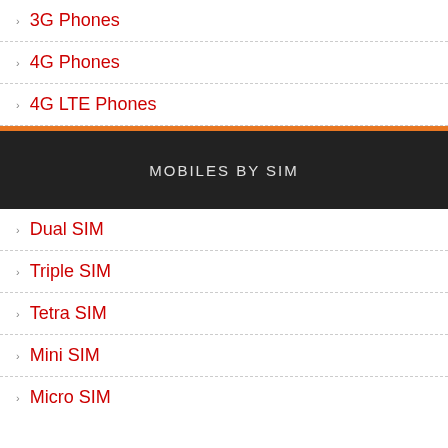3G Phones
4G Phones
4G LTE Phones
MOBILES BY SIM
Dual SIM
Triple SIM
Tetra SIM
Mini SIM
Micro SIM